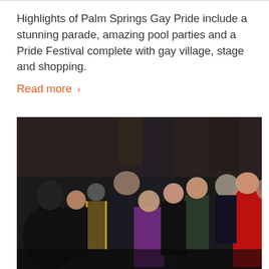Highlights of Palm Springs Gay Pride include a stunning parade, amazing pool parties and a Pride Festival complete with gay village, stage and shopping.
Read more ›
[Figure (photo): A crowded indoor event with many people wearing leather and latex outfits. The scene appears to be a nightclub or party venue with dark walls and dim lighting. People are socializing in a packed room.]